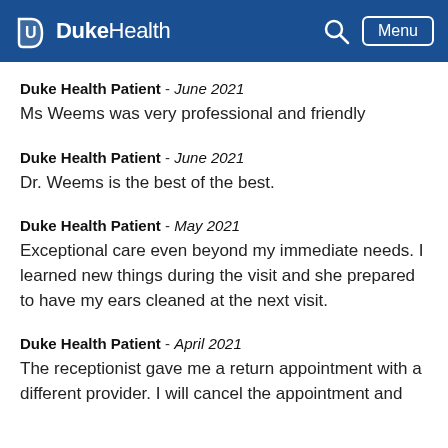Duke Health — navigation header with search and menu
Duke Health Patient - June 2021
Ms Weems was very professional and friendly
Duke Health Patient - June 2021
Dr. Weems is the best of the best.
Duke Health Patient - May 2021
Exceptional care even beyond my immediate needs. I learned new things during the visit and she prepared to have my ears cleaned at the next visit.
Duke Health Patient - April 2021
The receptionist gave me a return appointment with a different provider. I will cancel the appointment and